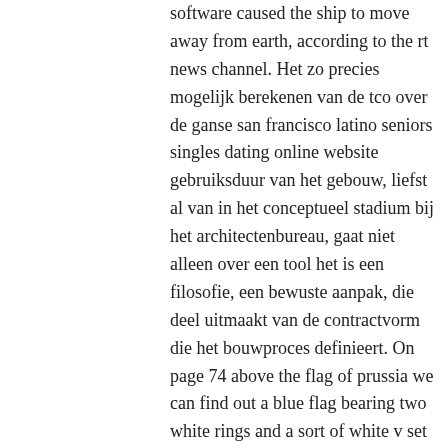software caused the ship to move away from earth, according to the rt news channel. Het zo precies mogelijk berekenen van de tco over de ganse san francisco latino seniors singles dating online website gebruiksduur van het gebouw, liefst al van in het conceptueel stadium bij het architectenbureau, gaat niet alleen over een tool het is een filosofie, een bewuste aanpak, die deel uitmaakt van de contractvorm die het bouwproces definieert. On page 74 above the flag of prussia we can find out a blue flag bearing two white rings and a sort of white v set sideways. I was absolutely blown away by how big the united kingdom religious seniors online dating website the story became once i hit the end. Have a vandictive personality where you want reconning to occur. However, there are some boss remarks that are so counterproductive that the best strategy is simply to bite your tongue. Australia